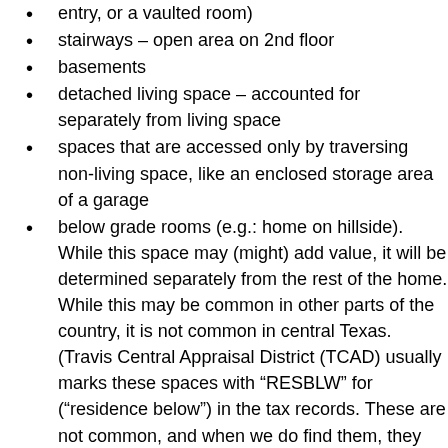entry, or a vaulted room)
stairways – open area on 2nd floor
basements
detached living space – accounted for separately from living space
spaces that are accessed only by traversing non-living space, like an enclosed storage area of a garage
below grade rooms (e.g.: home on hillside). While this space may (might) add value, it will be determined separately from the rest of the home. While this may be common in other parts of the country, it is not common in central Texas. (Travis Central Appraisal District (TCAD) usually marks these spaces with “RESBLW” for (“residence below”) in the tax records. These are not common, and when we do find them, they